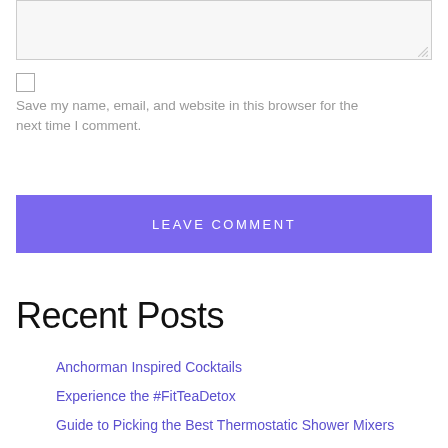[Figure (screenshot): A textarea input box with a light gray background and resize handle in bottom-right corner]
[Figure (screenshot): An unchecked checkbox input element]
Save my name, email, and website in this browser for the next time I comment.
[Figure (screenshot): A purple button labeled LEAVE COMMENT]
Recent Posts
Anchorman Inspired Cocktails
Experience the #FitTeaDetox
Guide to Picking the Best Thermostatic Shower Mixers